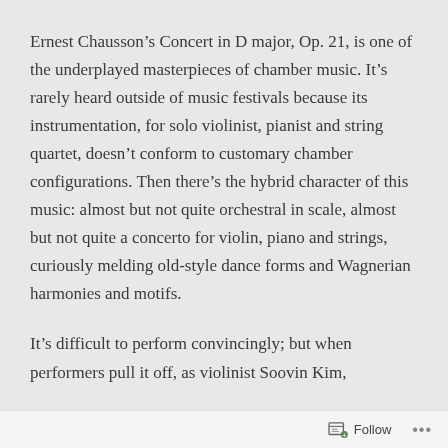Ernest Chausson's Concert in D major, Op. 21, is one of the underplayed masterpieces of chamber music. It's rarely heard outside of music festivals because its instrumentation, for solo violinist, pianist and string quartet, doesn't conform to customary chamber configurations. Then there's the hybrid character of this music: almost but not quite orchestral in scale, almost but not quite a concerto for violin, piano and strings, curiously melding old-style dance forms and Wagnerian harmonies and motifs.
It's difficult to perform convincingly; but when performers pull it off, as violinist Soovin Kim,
Follow ···